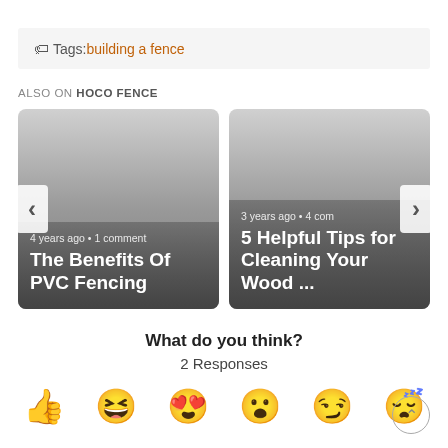Tags: building a fence
ALSO ON HOCO FENCE
[Figure (screenshot): Two article cards side by side. Left card: '4 years ago • 1 comment' / 'The Benefits Of PVC Fencing'. Right card: '3 years ago • 4 com...' / '5 Helpful Tips for Cleaning Your Wood ...' with left and right navigation arrows.]
What do you think?
2 Responses
[Figure (illustration): Row of reaction emoji icons: thumbs up, squinting face, heart eyes, surprised face, winking squinting face, sleepy face]